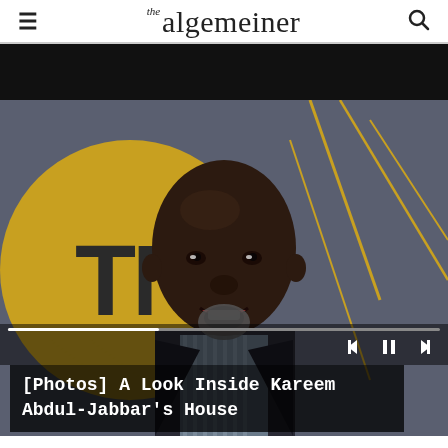the algemeiner
[Figure (photo): Video player showing a close-up photo of Kareem Abdul-Jabbar smiling, standing in front of a TNT branded backdrop with gold geometric lines on a dark background. The video player has a progress bar and playback controls at the bottom.]
[Photos] A Look Inside Kareem Abdul-Jabbar's House